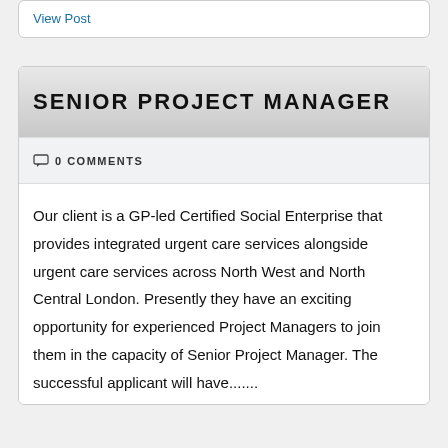View Post
SENIOR PROJECT MANAGER
0 COMMENTS
Our client is a GP-led Certified Social Enterprise that provides integrated urgent care services alongside urgent care services across North West and North Central London. Presently they have an exciting opportunity for experienced Project Managers to join them in the capacity of Senior Project Manager. The successful applicant will have.......